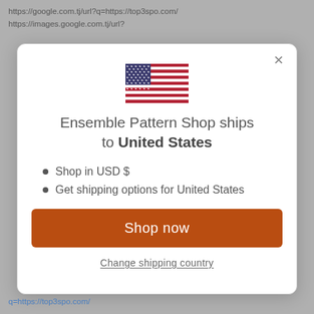https://google.com.tj/url?q=https://top3spo.com/
https://images.google.com.tj/url?
[Figure (illustration): US flag emoji/icon — stars and stripes, centered in modal]
Ensemble Pattern Shop ships to United States
Shop in USD $
Get shipping options for United States
Shop now
Change shipping country
q=https://top3spo.com/